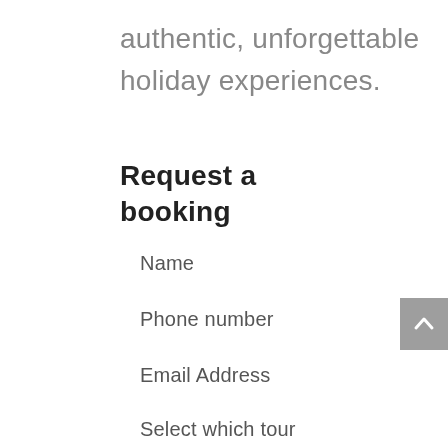authentic, unforgettable
holiday experiences.
Request a booking
Name
Phone number
Email Address
Select which tour